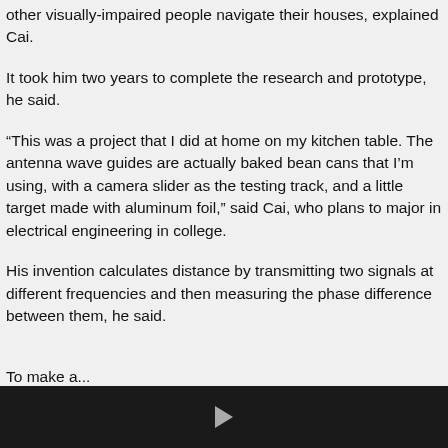other visually-impaired people navigate their houses, explained Cai.
It took him two years to complete the research and prototype, he said.
“This was a project that I did at home on my kitchen table. The antenna wave guides are actually baked bean cans that I’m using, with a camera slider as the testing track, and a little target made with aluminum foil,” said Cai, who plans to major in electrical engineering in college.
His invention calculates distance by transmitting two signals at different frequencies and then measuring the phase difference between them, he said.
To make a...
[Figure (other): Video player footer bar with play button icon on dark background]